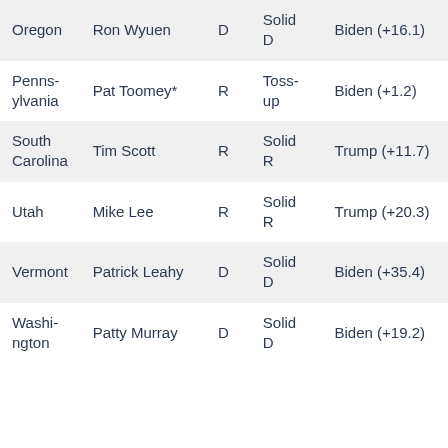| State | Senator | Party | Rating | 2020 Presidential Result |
| --- | --- | --- | --- | --- |
| Oregon | Ron Wyden | D | Solid D | Biden (+16.1) |
| Pennsylvania | Pat Toomey* | R | Toss-up | Biden (+1.2) |
| South Carolina | Tim Scott | R | Solid R | Trump (+11.7) |
| Utah | Mike Lee | R | Solid R | Trump (+20.3) |
| Vermont | Patrick Leahy | D | Solid D | Biden (+35.4) |
| Washington | Patty Murray | D | Solid D | Biden (+19.2) |